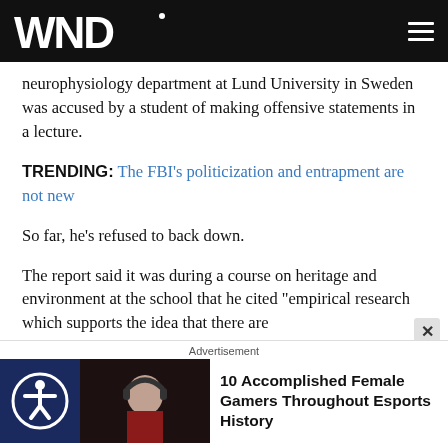WND
neurophysiology department at Lund University in Sweden was accused by a student of making offensive statements in a lecture.
TRENDING: The FBI's politicization and entrapment are not new
So far, he's refused to back down.
The report said it was during a course on heritage and environment at the school that he cited "empirical research which supports the idea that there are
Advertisement
10 Accomplished Female Gamers Throughout Esports History